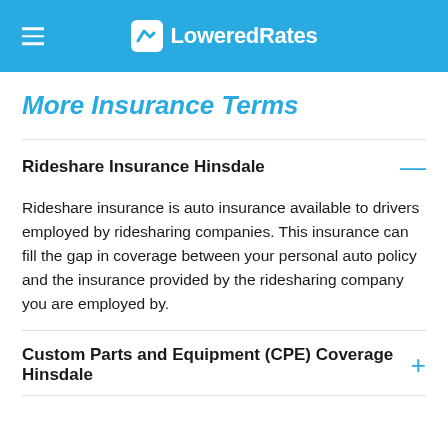LoweredRates
More Insurance Terms
Rideshare Insurance Hinsdale
Rideshare insurance is auto insurance available to drivers employed by ridesharing companies. This insurance can fill the gap in coverage between your personal auto policy and the insurance provided by the ridesharing company you are employed by.
Custom Parts and Equipment (CPE) Coverage Hinsdale